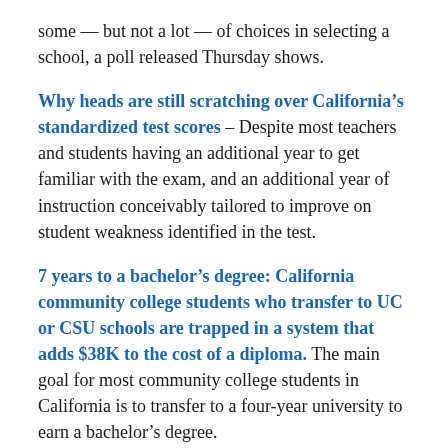some — but not a lot — of choices in selecting a school, a poll released Thursday shows.
Why heads are still scratching over California's standardized test scores – Despite most teachers and students having an additional year to get familiar with the exam, and an additional year of instruction conceivably tailored to improve on student weakness identified in the test.
7 years to a bachelor's degree: California community college students who transfer to UC or CSU schools are trapped in a system that adds $38K to the cost of a diploma. The main goal for most community college students in California is to transfer to a four-year university to earn a bachelor's degree.